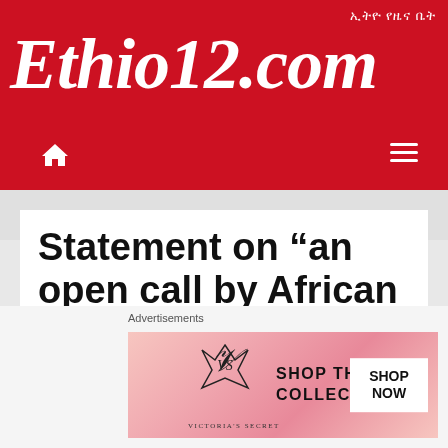ኢትዮ የዜና ቤት
Ethio12.com
[Figure (screenshot): Navigation bar with home icon and hamburger menu on red background]
Statement on “an open call by African intellectuals for urgent action on
Advertisements
[Figure (other): Victoria's Secret advertisement: SHOP THE COLLECTION - SHOP NOW button]